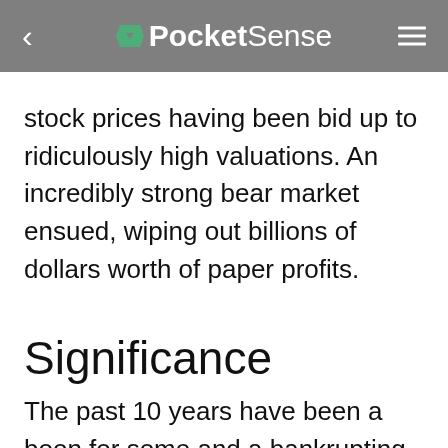PocketSense
stock prices having been bid up to ridiculously high valuations. An incredibly strong bear market ensued, wiping out billions of dollars worth of paper profits.
Significance
The past 10 years have been a boon for some and a bankrupting bane for others. That is also the case in the stock market, but the past 10 years have been even more